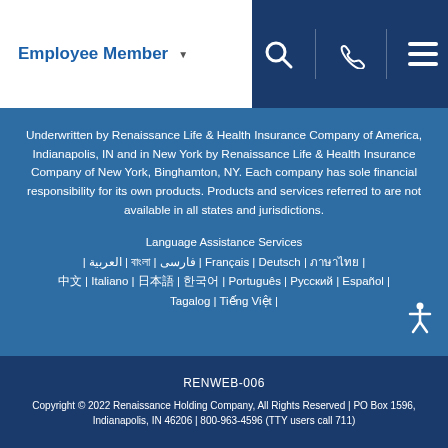Employee Member
Underwritten by Renaissance Life & Health Insurance Company of America, Indianapolis, IN and in New York by Renaissance Life & Health Insurance Company of New York, Binghamton, NY. Each company has sole financial responsibility for its own products. Products and services referred to are not available in all states and jurisdictions.
Language Assistance Services | العربية | বাংলা | فارسی | Français | Deutsch | ภาษาไทย | 中文 | Italiano | 日本語 | 한국어 | Português | Русский | Español | Tagalog | Tiếng Việt |
RENWEB-006
Copyright © 2022 Renaissance Holding Company, All Rights Reserved | PO Box 1596, Indianapolis, IN 46206 | 800-963-4596 (TTY users call 711)